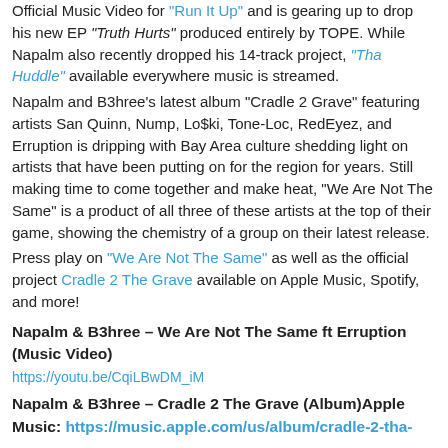Official Music Video for "Run It Up" and is gearing up to drop his new EP "Truth Hurts" produced entirely by TOPE. While Napalm also recently dropped his 14-track project, "Tha Huddle" available everywhere music is streamed.
Napalm and B3hree's latest album "Cradle 2 Grave" featuring artists San Quinn, Nump, Lo$ki, Tone-Loc, RedEyez, and Erruption is dripping with Bay Area culture shedding light on artists that have been putting on for the region for years. Still making time to come together and make heat, "We Are Not The Same" is a product of all three of these artists at the top of their game, showing the chemistry of a group on their latest release.
Press play on "We Are Not The Same" as well as the official project Cradle 2 The Grave available on Apple Music, Spotify, and more!
Napalm & B3hree – We Are Not The Same ft Erruption (Music Video)
https://youtu.be/CqiLBwDM_iM
Napalm & B3hree – Cradle 2 The Grave (Album) Apple Music: https://music.apple.com/us/album/cradle-2-tha-